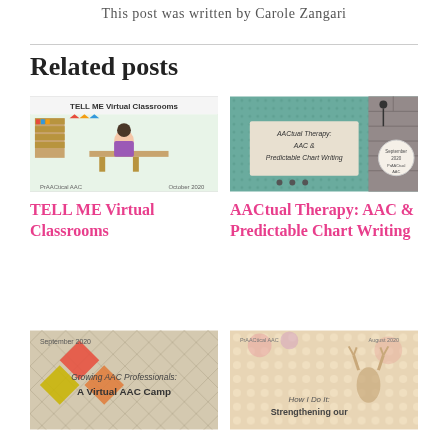This post was written by Carole Zangari
Related posts
[Figure (photo): TELL ME Virtual Classrooms thumbnail image showing a cartoon classroom with a bitmoji teacher, text reading 'TELL ME Virtual Classrooms', 'PrAACtical AAC', 'October 2020']
TELL ME Virtual Classrooms
[Figure (photo): AACtual Therapy thumbnail with teal/mint dotted background, pinned note reading 'AACtual Therapy: AAC & Predictable Chart Writing', September 2020 PrAACtical AAC badge]
AACtual Therapy: AAC & Predictable Chart Writing
[Figure (photo): Growing AAC Professionals: A Virtual AAC Camp thumbnail, September 2020, diamond pattern background]
[Figure (photo): How I Do It: Strengthening our thumbnail, August 2020 PrAACtical AAC, floral background with deer illustration]